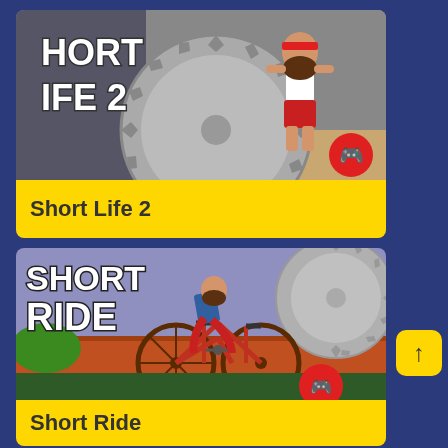[Figure (screenshot): Short Life 2 game thumbnail showing cartoon character with red headband and circular saw blade, with game title text]
Short Life 2
[Figure (screenshot): Short Ride game thumbnail showing cartoon character riding a bicycle with circular saw blade hazard in background, 'SHORT RIDE' title text visible]
Short Ride